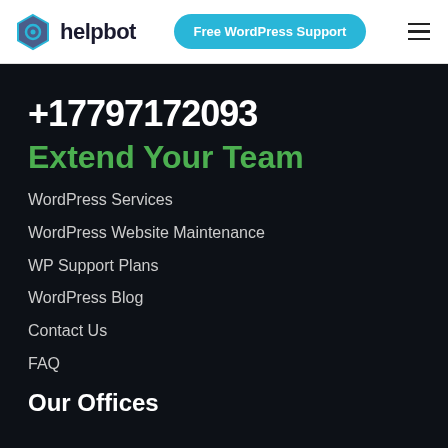helpbot | Free WordPress Support
+17797172093
Extend Your Team
WordPress Services
WordPress Website Maintenance
WP Support Plans
WordPress Blog
Contact Us
FAQ
Our Offices